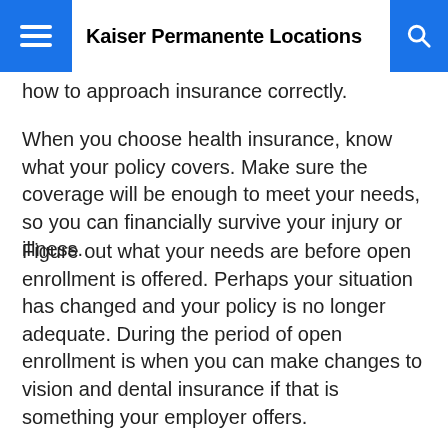Kaiser Permanente Locations
how to approach insurance correctly.
When you choose health insurance, know what your policy covers. Make sure the coverage will be enough to meet your needs, so you can financially survive your injury or illness.
Figure out what your needs are before open enrollment is offered. Perhaps your situation has changed and your policy is no longer adequate. During the period of open enrollment is when you can make changes to vision and dental insurance if that is something your employer offers.
Individual policies may have higher expenses than those offered by group plans. You might need to settle for higher deductibles or less coverage. Your best bet here is to do a little bit of comparison shopping in order to find the best package.